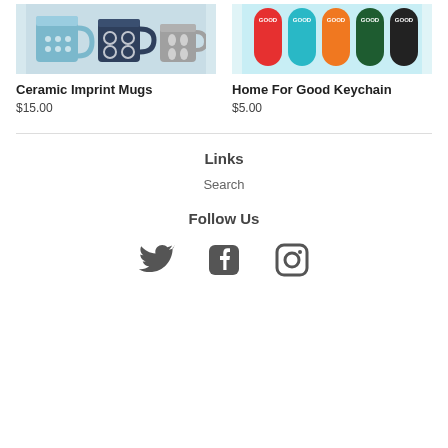[Figure (photo): Photo of ceramic imprint mugs in blue/grey tones]
Ceramic Imprint Mugs
$15.00
[Figure (photo): Photo of Home For Good keychains in red, teal, orange, dark green, and black]
Home For Good Keychain
$5.00
Links
Search
Follow Us
[Figure (illustration): Twitter, Facebook, and Instagram social media icons]